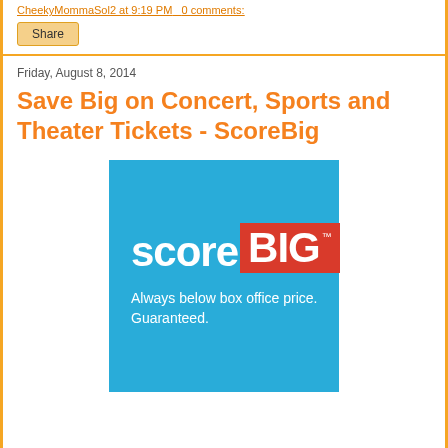CheekyMommaSol2 at 9:19 PM   0 comments:
Share
Friday, August 8, 2014
Save Big on Concert, Sports and Theater Tickets - ScoreBig
[Figure (logo): ScoreBig advertisement banner with blue background. Shows 'score' in white bold text next to 'BIG' in white bold text on a red rectangle with TM mark. Below reads 'Always below box office price. Guaranteed.' in white text.]